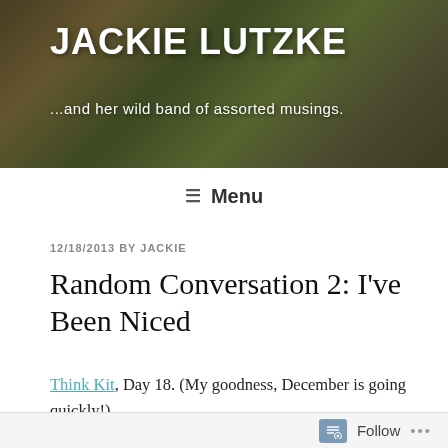JACKIE LUTZKE
...and her wild band of assorted musings.
≡ Menu
12/18/2013 BY JACKIE
Random Conversation 2: I've Been Niced
Think Kit, Day 18. (My goodness, December is going quickly!)
Prompt: Nice someone! Whether it's a gift, a helping hand, moral support, or just doing something for
Follow ...